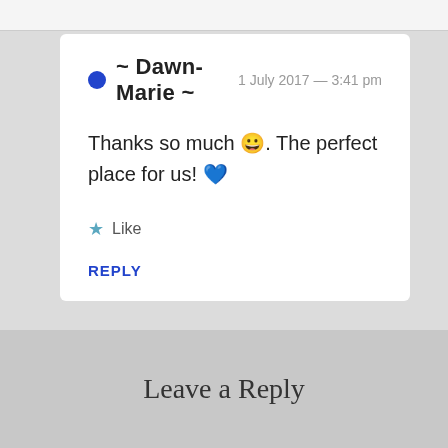~ Dawn-Marie ~ 1 July 2017 — 3:41 pm
Thanks so much 😀. The perfect place for us! 💙
★ Like
REPLY
Leave a Reply